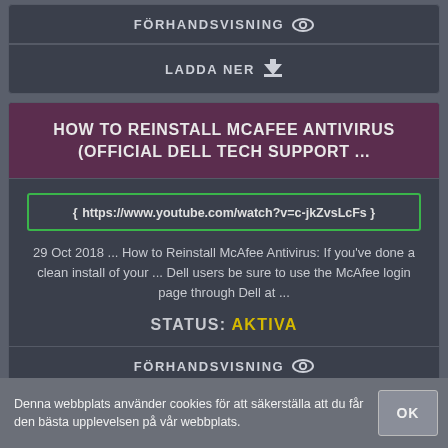FÖRHANDSVISNING
LADDA NER
HOW TO REINSTALL MCAFEE ANTIVIRUS (OFFICIAL DELL TECH SUPPORT ...
https://www.youtube.com/watch?v=c-jkZvsLcFs
29 Oct 2018 ... How to Reinstall McAfee Antivirus: If you've done a clean install of your ... Dell users be sure to use the McAfee login page through Dell at ...
STATUS: AKTIVA
FÖRHANDSVISNING
LADDA NER
Denna webbplats använder cookies för att säkerställa att du får den bästa upplevelsen på vår webbplats.